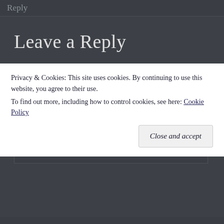Reply
Leave a Reply
Your email address will not be published. Required fields are marked *
Comment *
Privacy & Cookies: This site uses cookies. By continuing to use this website, you agree to their use.
To find out more, including how to control cookies, see here: Cookie Policy